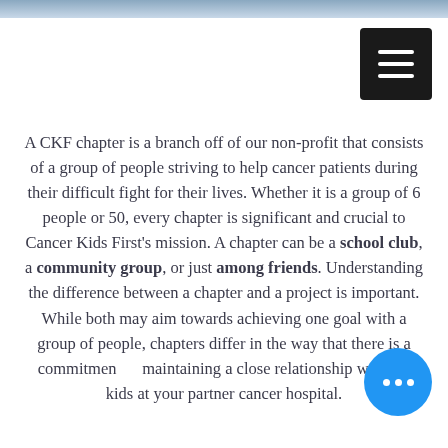[Figure (photo): Partial photo strip at top of page showing people]
A CKF chapter is a branch off of our non-profit that consists of a group of people striving to help cancer patients during their difficult fight for their lives. Whether it is a group of 6 people or 50, every chapter is significant and crucial to Cancer Kids First's mission. A chapter can be a school club, a community group, or just among friends. Understanding the difference between a chapter and a project is important. While both may aim towards achieving one goal with a group of people, chapters differ in the way that there is a commitment to maintaining a close relationship with the kids at your partner cancer hospital.